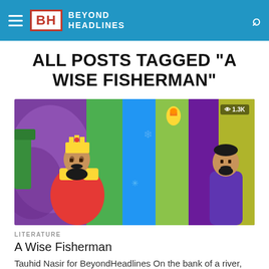BH BEYOND HEADLINES
ALL POSTS TAGGED "A WISE FISHERMAN"
[Figure (illustration): Animated illustration showing a king with crown in red outfit on the left, a colorful background with purple, green and yellow vertical stripes, and a man in purple shirt on the right. Shows view count badge '1.3K' in top right.]
LITERATURE
A Wise Fisherman
Tauhid Nasir for BeyondHeadlines On the bank of a river, two students of Law were discussing a class lecture in which their...